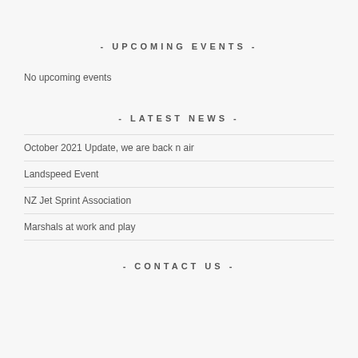- UPCOMING EVENTS -
No upcoming events
- LATEST NEWS -
October 2021 Update, we are back n air
Landspeed Event
NZ Jet Sprint Association
Marshals at work and play
- CONTACT US -